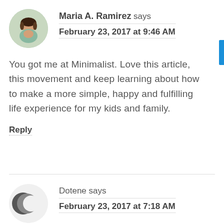[Figure (photo): Avatar photo of Maria A. Ramirez, a woman with dark hair]
Maria A. Ramirez says
February 23, 2017 at 9:46 AM
You got me at Minimalist. Love this article, this movement and keep learning about how to make a more simple, happy and fulfilling life experience for my kids and family.
Reply
[Figure (illustration): Avatar icon for Dotene showing overlapping dark circles/crescents]
Dotene says
February 23, 2017 at 7:18 AM